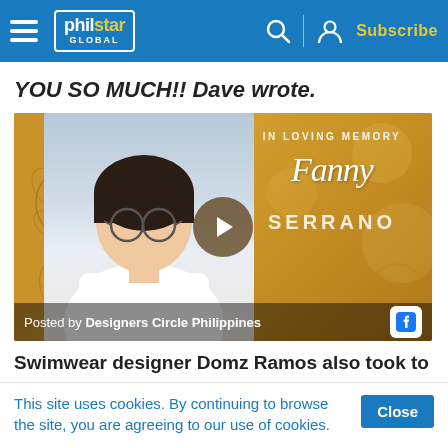philstar GLOBAL — Subscribe
YOU SO MUCH!!  Dave wrote.
[Figure (photo): Facebook video post thumbnail showing 'In Loving Memory Fanny Serrano' with a play button overlay. Posted by Designers Circle Philippines. Shows a man with glasses against a golden floral background.]
Swimwear designer Domz Ramos also took to
This site uses cookies. By continuing to browse the site, you are agreeing to our use of cookies.